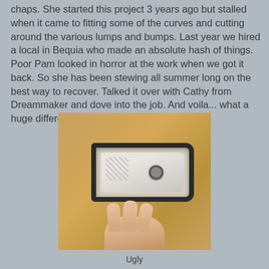chaps.  She started this project 3 years ago but stalled when it came to fitting some of the curves and cutting around the various lumps and bumps.  Last year we hired a local in Bequia who made an absolute hash of things.  Poor Pam looked in horror at the work when we got it back.  So she has been stewing all summer long on the best way to recover.  Talked it over with Cathy from Dreammaker and dove into the job.  And voila... what a huge difference!
[Figure (photo): A hand holds up a piece of tan/khaki fabric with a dark-bordered canvas opening or port window cut into it, showing a mesh corner and a grommet. The fabric appears to be a boat cover or chaps material.]
Ugly